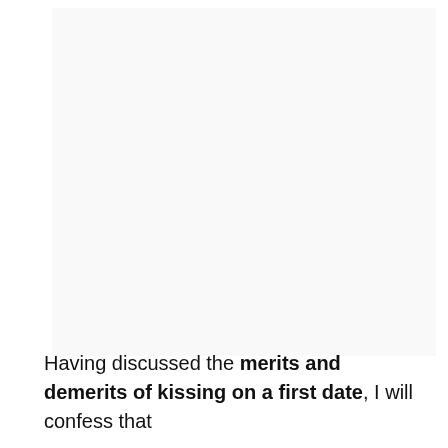[Figure (other): Blank or mostly white image area occupying the upper portion of the page]
Having discussed the merits and demerits of kissing on a first date, I will confess that